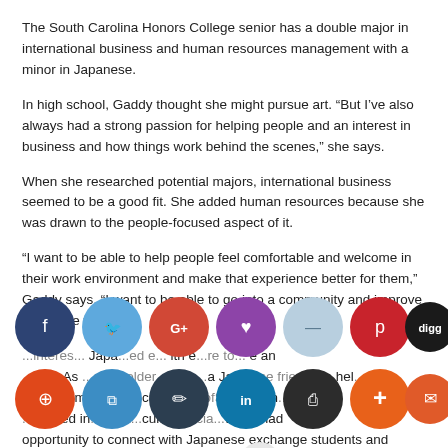The South Carolina Honors College senior has a double major in international business and human resources management with a minor in Japanese.
In high school, Gaddy thought she might pursue art. “But I’ve also always had a strong passion for helping people and an interest in business and how things work behind the scenes,” she says.
When she researched potential majors, international business seemed to be a good fit. She added human resources because she was drawn to the people-focused aspect of it.
“I want to be able to help people feel comfortable and welcome in their work environment and make that experience better for them,” Gaddy says. “I want to be able to go into a community and improve it in some way.”
[Figure (other): Row of social media share buttons overlaid on text: Facebook, Twitter, Google+, Heart/Love, Messenger, Pinterest, Digg (row 1); StumbleUpon, WeChat, Edit/Pencil, LinkedIn, Print, Plus/More, Email, Share (row 2). Buttons partially obscure the underlying article text about interest in Japanese culture.]
...interest in Japanese... led e...with e...re to...e an...ga. As ...grew older, she h...a Japa...se frie...who hel...learn m...about...culture...UofSC...ddy h...been ...ed in...Japa...cultu...socia...whe...had opportunity to connect with Japanese exchange students and improve her language skills.